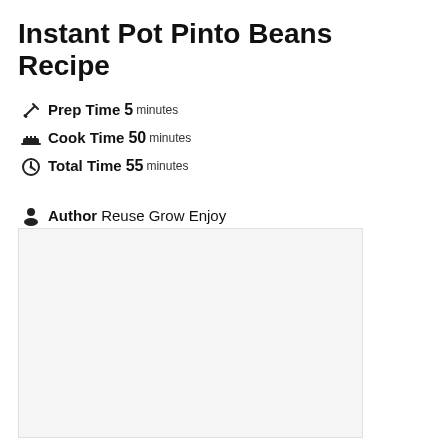Instant Pot Pinto Beans Recipe
Prep Time 5 minutes
Cook Time 50 minutes
Total Time 55 minutes
Author Reuse Grow Enjoy
[Figure (photo): Light gray placeholder image of the recipe]